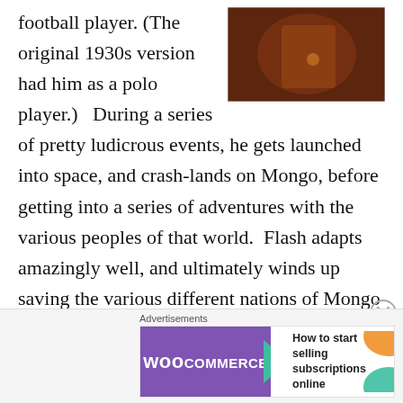football player. (The original 1930s version had him as a polo player.)   During a series of pretty ludicrous events, he gets launched into space, and crash-lands on Mongo, before getting into a series of adventures with the various peoples of that world.  Flash adapts amazingly well, and ultimately winds up saving the various different nations of Mongo from their evil overlord, Ming The Merciless.  There have been other versions of Flash's story, but the 1980 version is my favorite, partially because of the amazing Queen
[Figure (photo): A dark, reddish-toned photo showing what appears to be a scene from the Flash Gordon film.]
Advertisements
[Figure (screenshot): WooCommerce advertisement banner: 'How to start selling subscriptions online']